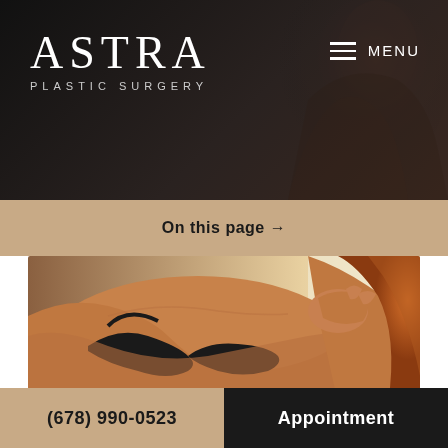[Figure (logo): Astra Plastic Surgery logo — white serif ASTRA text with PLASTIC SURGERY subtitle, on dark background with woman's shoulder silhouette]
On this page →
[Figure (photo): Close-up photo of a woman in a black bra, arms crossed over chest, with auburn hair, warm studio lighting]
[Figure (photo): Partial photo strip of a woman in dark clothing against black background at bottom of page]
(678) 990-0523
Appointment